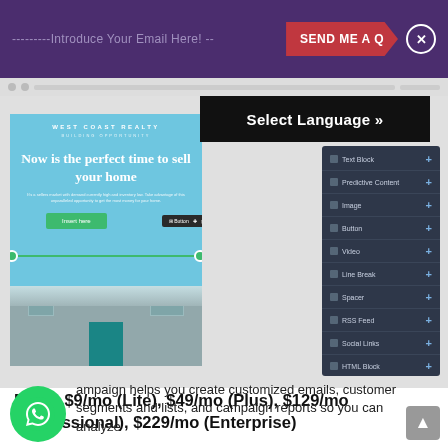[Figure (screenshot): Email marketing platform UI screenshot showing a purple top bar with email input and 'SEND ME A Q' button, a 'Select Language' black dropdown bar, an email builder preview with West Coast Realty real estate email template on light blue background with 'Now is the perfect time to sell your home' headline, a right sidebar with content blocks (Text Block, Predictive Content, Image, Button, Video, Line Break, Spacer, RSS Feed, Social Links, HTML Block), and a house photo at the bottom.]
Price: $9/mo (Lite), $49/mo (Plus), $129/mo (Professional), $229/mo (Enterprise)
ampaign helps you create customized emails, customer segments and lists, and campaign reports so you can analyze